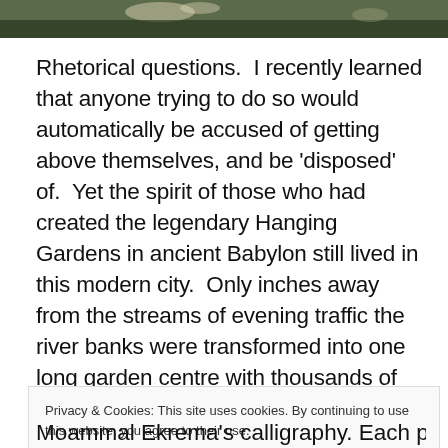[Figure (photo): Partial photograph showing dark foliage or landscape, cropped at top of page]
Rhetorical questions.  I recently learned that anyone trying to do so would automatically be accused of getting above themselves, and be 'disposed' of.  Yet the spirit of those who had created the legendary Hanging Gardens in ancient Babylon still lived in this modern city.  Only inches away from the streams of evening traffic the river banks were transformed into one long garden centre with thousands of palms and marigolds for sale, a solid ribbon of green and gold foliage.  It was strangely comforting to
Privacy & Cookies: This site uses cookies. By continuing to use this website, you agree to their use.
To find out more, including how to control cookies, see here: Cookie Policy
Close and accept
Moammal Ekrema's calligraphy. Each piece was a fluid